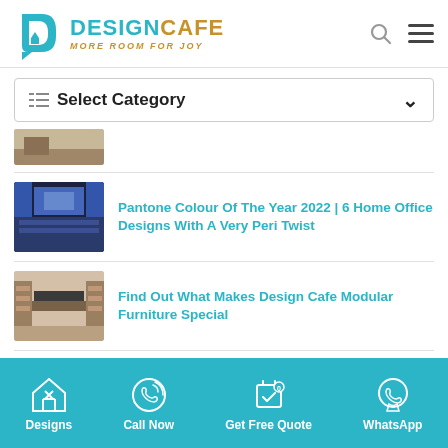DESIGNCAFE MORE ROOM FOR JOY
Select Category
[Figure (photo): Partially visible article thumbnail at top]
Pantone Colour Of The Year 2022 | 6 Home Office Designs With A Very Peri Twist
[Figure (photo): Blue kitchen/home office interior thumbnail]
Find Out What Makes Design Cafe Modular Furniture Special
[Figure (photo): Living room with TV unit thumbnail]
All Your Queries On How To Design A Modern...
[Figure (photo): Partially visible thumbnail]
Designs | Call Now | Get Free Quote | WhatsApp